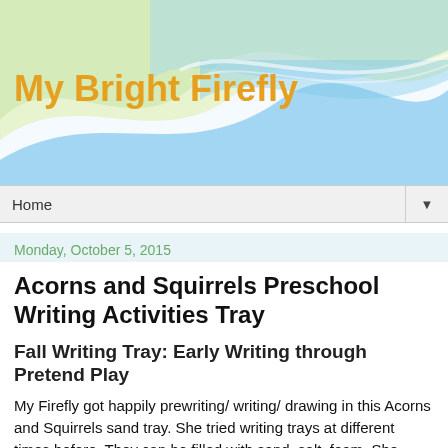My Bright Firefly
Home
Monday, October 5, 2015
Acorns and Squirrels Preschool Writing Activities Tray
Fall Writing Tray: Early Writing through Pretend Play
My Firefly got happily prewriting/ writing/ drawing in this Acorns and Squirrels sand tray. She tried writing trays at different times before. They can be filled with sand, salt, foam. She loved them and worked with them for several minutes max. I know: short attention span. But prewriting doesn't have to be boring; and kids learn better through play including writing!